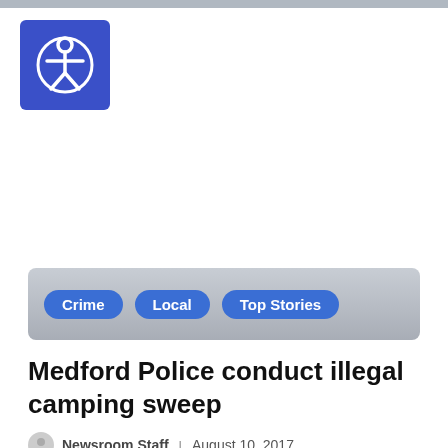[Figure (logo): Accessibility icon — white person figure inside a blue rounded square]
Crime | Local | Top Stories
Medford Police conduct illegal camping sweep
Newsroom Staff | August 10, 2017